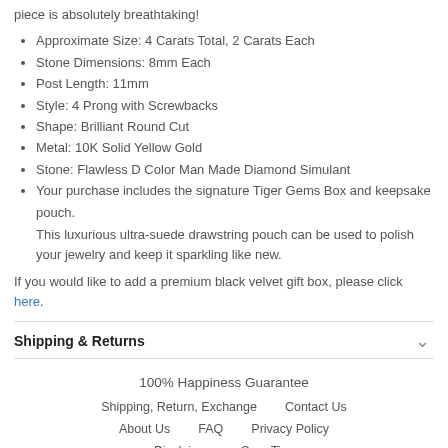piece is absolutely breathtaking!
Approximate Size: 4 Carats Total, 2 Carats Each
Stone Dimensions: 8mm Each
Post Length: 11mm
Style: 4 Prong with Screwbacks
Shape: Brilliant Round Cut
Metal: 10K Solid Yellow Gold
Stone: Flawless D Color Man Made Diamond Simulant
Your purchase includes the signature Tiger Gems Box and keepsake pouch. This luxurious ultra-suede drawstring pouch can be used to polish your jewelry and keep it sparkling like new.
If you would like to add a premium black velvet gift box, please click here.
Shipping & Returns
100% Happiness Guarantee
Shipping, Return, Exchange   Contact Us
About Us   FAQ   Privacy Policy
Disclaimer   Care Tips